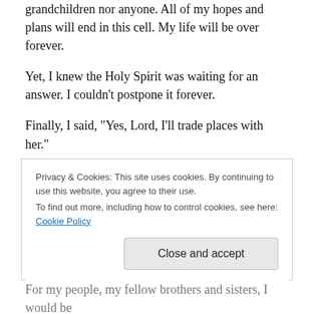grandchildren nor anyone. All of my hopes and plans will end in this cell. My life will be over forever.
Yet, I knew the Holy Spirit was waiting for an answer. I couldn’t postpone it forever.
Finally, I said, “Yes, Lord, I’ll trade places with her.”
The vision instantly ended.
But my first thoughts still haunt me. You see, I cared more about my personal welfare than about hers. That was not
Privacy & Cookies: This site uses cookies. By continuing to use this website, you agree to their use.
To find out more, including how to control cookies, see here: Cookie Policy
For my people, my fellow brothers and sisters, I would be